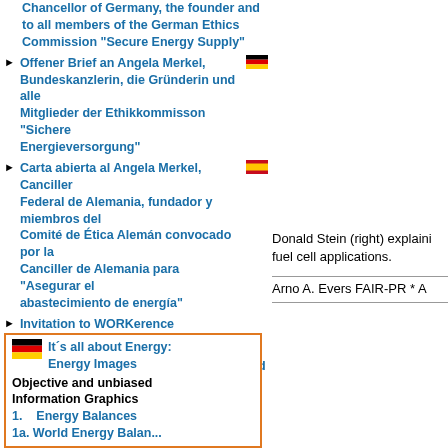Offener Brief an Angela Merkel, Bundeskanzlerin, die Gründerin und alle Mitglieder der Ethikkommisson "Sichere Energieversorgung"
Carta abierta al Angela Merkel, Canciller Federal de Alemania, fundador y miembros del Comité de Ética Alemán convocado por la Canciller de Alemania para "Asegurar el abastecimiento de energía"
Invitation to WORKerence
Visits at MagneGas™
Arno was invited speaker at WREC World Renewable Energy Congress XI in Abu Dhabi, United Arab Emirates, September 25-30, 2010
Arno's Activities on LinkedIn
Arno's Blog
Arno received the Hydrogen Award for his Lifetime Contribution to Hydrogen Energy...
Donald Stein (right) explaining fuel cell applications.
Arno A. Evers FAIR-PR * A
It's all about Energy: Energy Images
Objective and unbiased Information Graphics
1. Energy Balances
1a. World Energy Balances